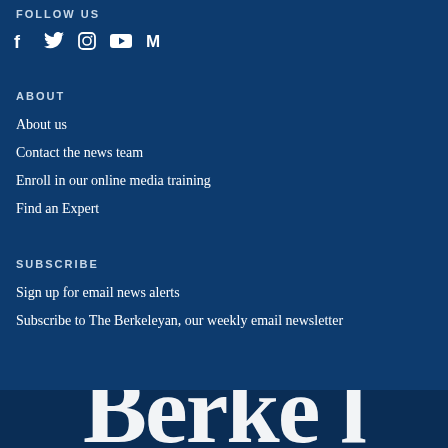FOLLOW US
[Figure (illustration): Social media icons: Facebook (f), Twitter (bird), Instagram (camera circle), YouTube (play button), Medium (M)]
ABOUT
About us
Contact the news team
Enroll in our online media training
Find an Expert
SUBSCRIBE
Sign up for email news alerts
Subscribe to The Berkeleyan, our weekly email newsletter
Berke l